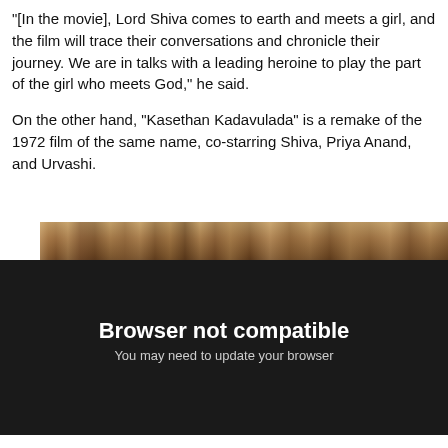"[In the movie], Lord Shiva comes to earth and meets a girl, and the film will trace their conversations and chronicle their journey. We are in talks with a leading heroine to play the part of the girl who meets God," he said.
On the other hand, "Kasethan Kadavulada" is a remake of the 1972 film of the same name, co-starring Shiva, Priya Anand, and Urvashi.
[Figure (photo): A partial photo strip showing a group of people, partially visible at the top of a dark/black region]
Browser not compatible
You may need to update your browser